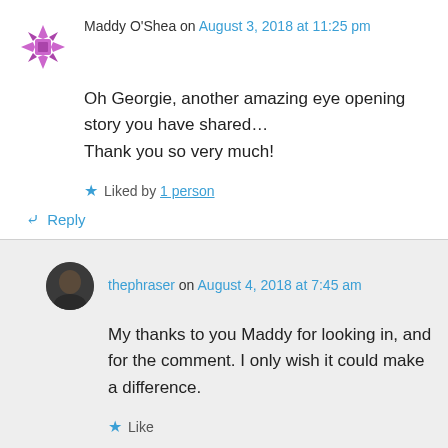Maddy O'Shea on August 3, 2018 at 11:25 pm
Oh Georgie, another amazing eye opening story you have shared… Thank you so very much!
Liked by 1 person
Reply
thephraser on August 4, 2018 at 7:45 am
My thanks to you Maddy for looking in, and for the comment. I only wish it could make a difference.
Like
Reply